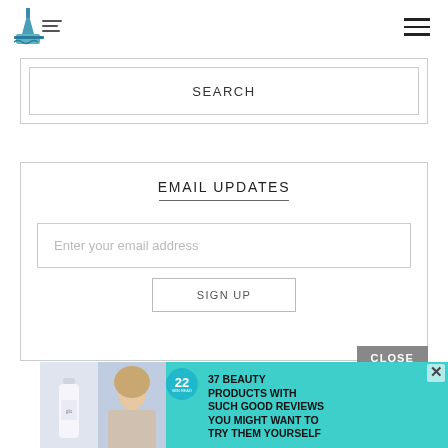[Figure (logo): Small blue logo icon with text beside it]
[Figure (infographic): Hamburger menu icon (three horizontal lines)]
SEARCH
EMAIL UPDATES
Enter your email address
SIGN UP
CLOSE
[Figure (photo): Advertisement banner: cyan/teal background with product images, a circular badge showing '22' and text '37 BEAUTY PRODUCTS WITH SUCH GOOD REVIEWS YOU MIGHT WANT TO TRY THEM YOURSELF']